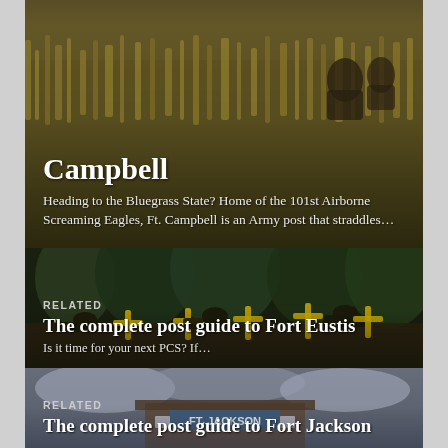Campbell
Heading to the Bluegrass State? Home of the 101st Airborne Screaming Eagles, Ft. Campbell is an Army post that straddles...
[Figure (photo): Soldiers crawling under obstacles on a military training course in a wooded area]
RELATED
The complete post guide to Fort Eustis
Is it time for your next PCS? If...
[Figure (photo): Fort Jackson sign and buildings under cloudy sky]
RELATED
The complete post guide to Fort Jackson